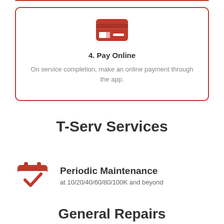[Figure (illustration): Credit card icon in red, representing online payment]
4. Pay Online
On service completion, make an online payment through the app.
T-Serv Services
[Figure (illustration): Red calendar icon with a checkmark]
Periodic Maintenance
at 10/20/40/60/80/100K and beyond
General Repairs